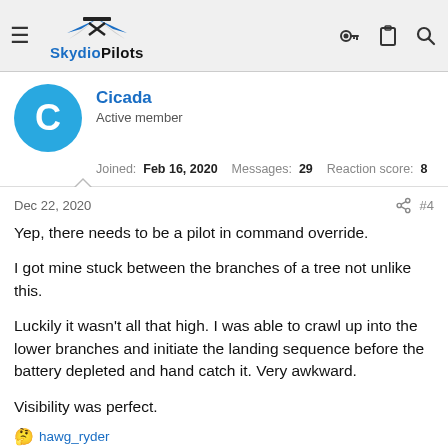SkydioPilots
Cicada
Active member
Joined: Feb 16, 2020  Messages: 29  Reaction score: 8
Dec 22, 2020  #4
Yep, there needs to be a pilot in command override.

I got mine stuck between the branches of a tree not unlike this.

Luckily it wasn't all that high. I was able to crawl up into the lower branches and initiate the landing sequence before the battery depleted and hand catch it. Very awkward.

Visibility was perfect.
hawg_ryder
skydioconvert
Well known member